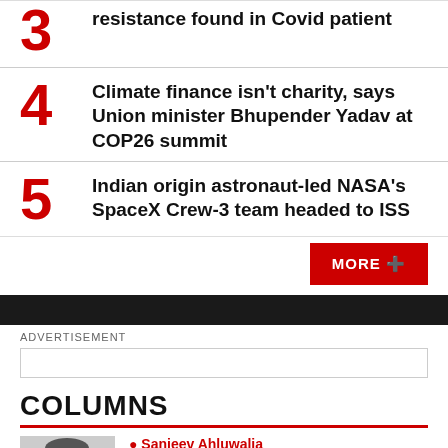3 resistance found in Covid patient
4 Climate finance isn't charity, says Union minister Bhupender Yadav at COP26 summit
5 Indian origin astronaut-led NASA's SpaceX Crew-3 team headed to ISS
MORE +
ADVERTISEMENT
COLUMNS
Sanjeev Ahluwalia
Sanjeev Ahluwalia | Can India be a developed nation before it gets rich?